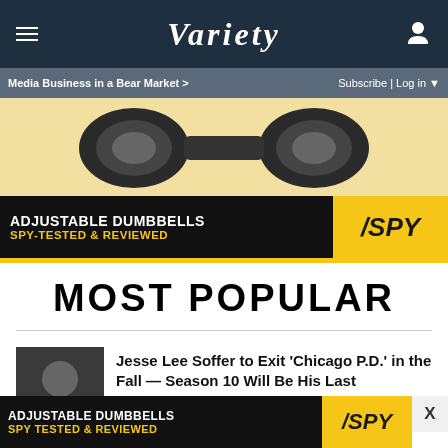VARIETY
Media Business in a Bear Market >    Subscribe | Log in ▼
[Figure (photo): Advertisement for Adjustable Dumbbells - SPY Tested & Reviewed. Shows dumbbell image on yellow/tan background with black banner reading 'ADJUSTABLE DUMBBELLS' and 'SPY-TESTED & REVIEWED' with SPY logo in yellow.]
MOST POPULAR
[Figure (photo): Thumbnail photo of Jesse Lee Soffer, actor, in dark clothing]
Jesse Lee Soffer to Exit 'Chicago P.D.' in the Fall — Season 10 Will Be His Last (EXCLUSIVE)
[Figure (photo): Bottom advertisement banner: ADJUSTABLE DUMBBELLS / SPY TESTED & REVIEWED with SPY logo]